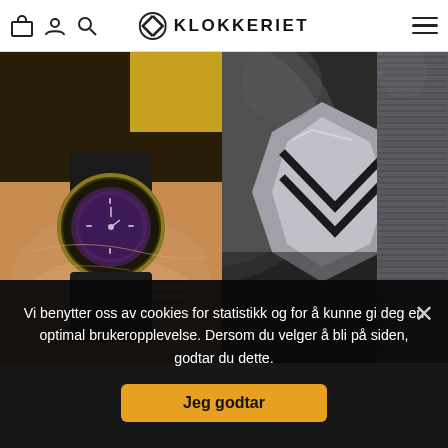Klokkeriet — navigation header with cart, user, search, logo, and menu icons
[Figure (photo): Close-up photo of a wristwatch with a purple/dark dial and black strap on a person's wrist]
[Figure (photo): Close-up photo of a watch clasp and black fabric/nylon strap with metallic buckle detail]
Vi benytter oss av cookies for statistikk og for å kunne gi deg en optimal brukeropplevelse. Dersom du velger å bli på siden, godtar du dette.
Jeg godtar